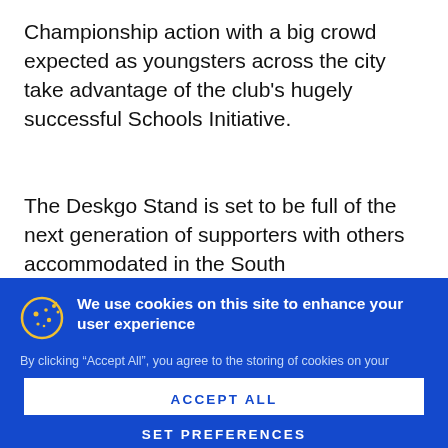Championship action with a big crowd expected as youngsters across the city take advantage of the club's hugely successful Schools Initiative.
The Deskgo Stand is set to be full of the next generation of supporters with others accommodated in the South
We use cookies on this site to enhance your user experience
By clicking “Accept All”, you agree to the storing of cookies on your device to enhance site navigation, analyse site usage, and assist in our marketing efforts.
You can tailor your site experience by clicking “Set Preferences”.
ACCEPT ALL
SET PREFERENCES